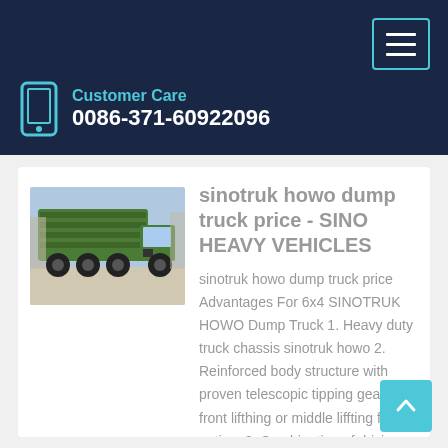Customer Care 0086-371-60922096
[Figure (photo): Green Sinotruk HOWO dump truck parked on a street]
sinotruk howo dump truck price - SINO HEAVY VEHICLES
sinotruk howo dump truck price Advantages For 6x4 SINOTRUK HOWO Dump Truck 1. Heavy duty truck chassis sinotruk howo 2. Reinforced body structure with proven telescopic tipping gear,with front lifthing or middle liffting for option. 3. Combination of driving comfort and power 4. ...